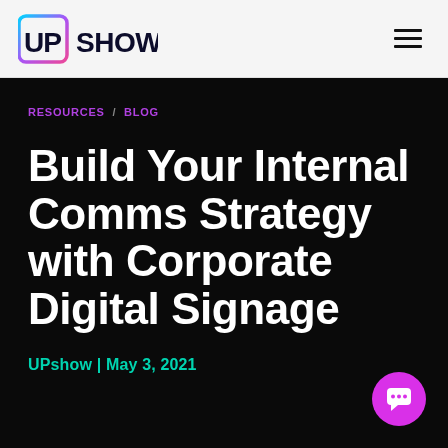[Figure (logo): UPshow logo with colorful gradient square border around 'UP' and dark 'SHOW' text]
RESOURCES / BLOG
Build Your Internal Comms Strategy with Corporate Digital Signage
UPshow | May 3, 2021